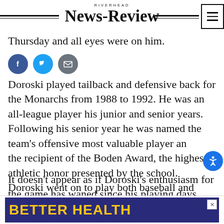RIVERHEAD NEWS-REVIEW
Thursday and all eyes were on him.
Doroski played tailback and defensive back for the Monarchs from 1988 to 1992. He was an all-league player his junior and senior years. Following his senior year he was named the team's offensive most valuable player and the recipient of the Boden Award, the highest athletic honor presented by the school. Doroski went on to play both baseball and football at Springfield College (Mass.).
It doesn't appear as if Doroski's enthusiasm for the game has waned since his playing days.
[Figure (other): Advertisement banner showing 'BETTER HEALTH' text in yellow on purple/dark background]